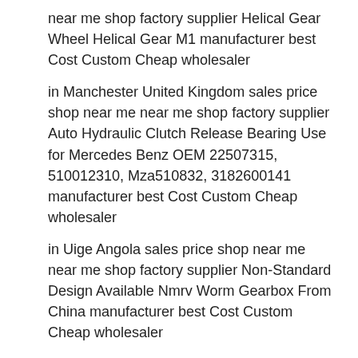near me shop factory supplier Helical Gear Wheel Helical Gear M1 manufacturer best Cost Custom Cheap wholesaler
in Manchester United Kingdom sales price shop near me near me shop factory supplier Auto Hydraulic Clutch Release Bearing Use for Mercedes Benz OEM 22507315, 510012310, Mza510832, 3182600141 manufacturer best Cost Custom Cheap wholesaler
in Uige Angola sales price shop near me near me shop factory supplier Non-Standard Design Available Nmrv Worm Gearbox From China manufacturer best Cost Custom Cheap wholesaler
in Antalya Turkey sales price shop near me near me shop factory supplier Hot Sale Affordable Multi Span Film Tunnel Greenhouse manufacturer best Cost Custom Cheap wholesaler
in Zagreb Croatia sales price shop near me near me shop factory supplier 1045 Steel Sprocket Motor Gear